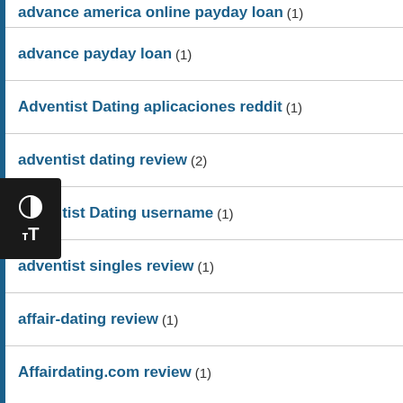advance america online payday loan (1)
advance payday loan (1)
Adventist Dating aplicaciones reddit (1)
adventist dating review (2)
adventist Dating username (1)
adventist singles review (1)
affair-dating review (1)
Affairdating.com review (1)